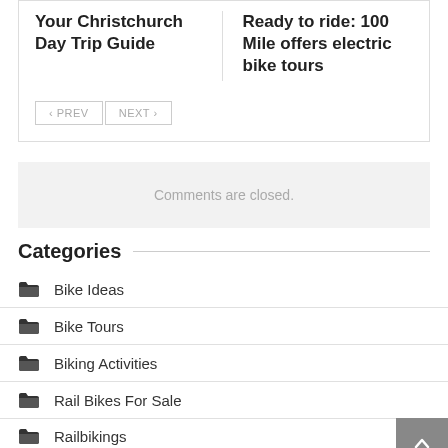Your Christchurch Day Trip Guide
Ready to ride: 100 Mile offers electric bike tours
« PREV  NEXT »
Comments are closed.
Categories
Bike Ideas
Bike Tours
Biking Activities
Rail Bikes For Sale
Railbikings